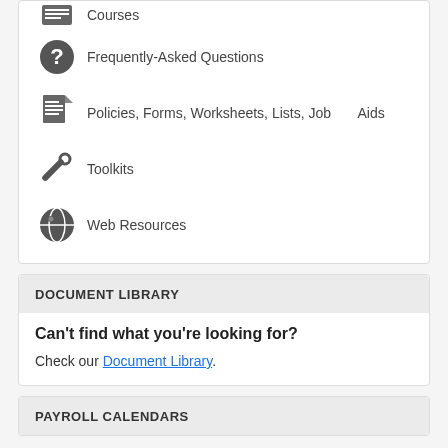Courses
Frequently-Asked Questions
Policies, Forms, Worksheets, Lists, Job Aids
Toolkits
Web Resources
DOCUMENT LIBRARY
Can't find what you're looking for?
Check our Document Library.
PAYROLL CALENDARS